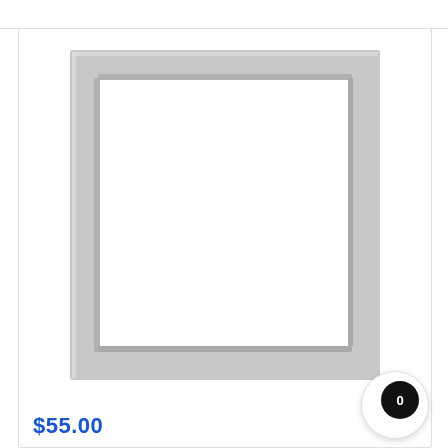[Figure (photo): A rectangular door seal / gasket frame in light gray/silver color, shown as a product photo on white background. The gasket forms a rectangular border shape with rounded corners.]
$55.00